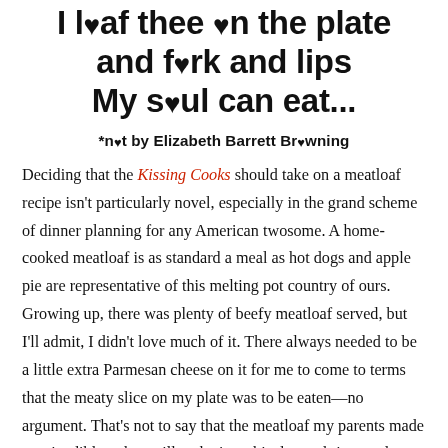I loaf thee on the plate and fork and lips My soul can eat...
*not by Elizabeth Barrett Browning
Deciding that the Kissing Cooks should take on a meatloaf recipe isn't particularly novel, especially in the grand scheme of dinner planning for any American twosome. A home-cooked meatloaf is as standard a meal as hot dogs and apple pie are representative of this melting pot country of ours. Growing up, there was plenty of beefy meatloaf served, but I'll admit, I didn't love much of it. There always needed to be a little extra Parmesan cheese on it for me to come to terms that the meaty slice on my plate was to be eaten—no argument. That's not to say that the meatloaf my parents made was inedible—they still make it to this day and rigorously enjoy second portions. It's just